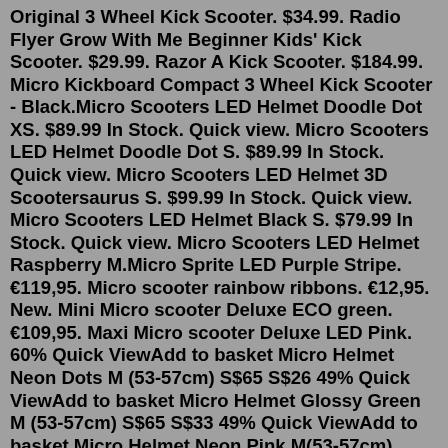Original 3 Wheel Kick Scooter. $34.99. Radio Flyer Grow With Me Beginner Kids' Kick Scooter. $29.99. Razor A Kick Scooter. $184.99. Micro Kickboard Compact 3 Wheel Kick Scooter - Black.Micro Scooters LED Helmet Doodle Dot XS. $89.99 In Stock. Quick view. Micro Scooters LED Helmet Doodle Dot S. $89.99 In Stock. Quick view. Micro Scooters LED Helmet 3D Scootersaurus S. $99.99 In Stock. Quick view. Micro Scooters LED Helmet Black S. $79.99 In Stock. Quick view. Micro Scooters LED Helmet Raspberry M.Micro Sprite LED Purple Stripe. €119,95. Micro scooter rainbow ribbons. €12,95. New. Mini Micro scooter Deluxe ECO green. €109,95. Maxi Micro scooter Deluxe LED Pink. 60% Quick ViewAdd to basket Micro Helmet Neon Dots M (53-57cm) S$65 S$26 49% Quick ViewAdd to basket Micro Helmet Glossy Green M (53-57cm) S$65 S$33 49% Quick ViewAdd to basket Micro Helmet Neon Pink M(53-57cm) S$65 S$33 23% Quick ViewAdd to basket Micro Helmet Elephant M (53-57 cm) S$65